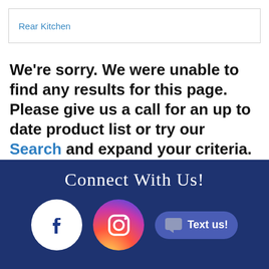Rear Kitchen
We're sorry. We were unable to find any results for this page. Please give us a call for an up to date product list or try our Search and expand your criteria.
Connect With Us!